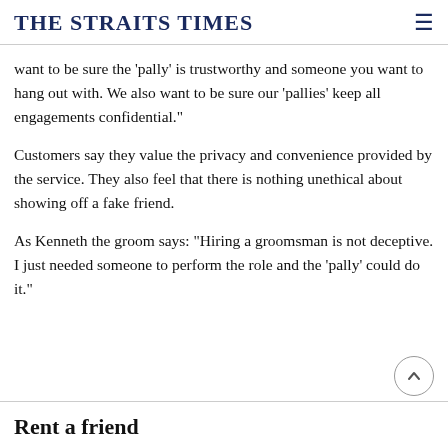THE STRAITS TIMES
want to be sure the 'pally' is trustworthy and someone you want to hang out with. We also want to be sure our 'pallies' keep all engagements confidential."
Customers say they value the privacy and convenience provided by the service. They also feel that there is nothing unethical about showing off a fake friend.
As Kenneth the groom says: "Hiring a groomsman is not deceptive. I just needed someone to perform the role and the 'pally' could do it."
Rent a friend